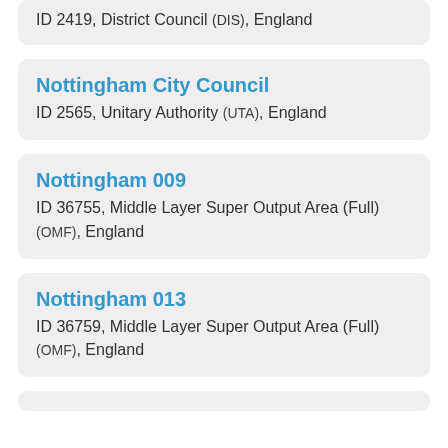ID 2419, District Council (DIS), England
Nottingham City Council
ID 2565, Unitary Authority (UTA), England
Nottingham 009
ID 36755, Middle Layer Super Output Area (Full) (OMF), England
Nottingham 013
ID 36759, Middle Layer Super Output Area (Full) (OMF), England